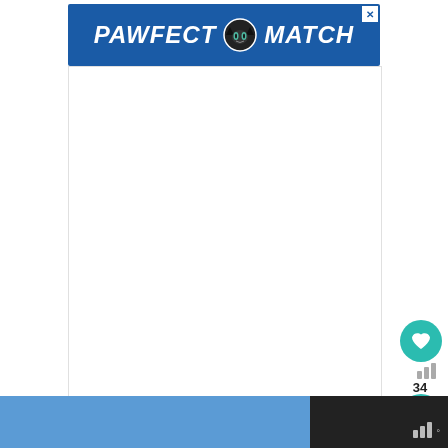[Figure (illustration): Pawfect Match advertisement banner with blue background, cat face icon, white bold italic text reading PAWFECT MATCH, and a close X button in top right corner.]
These bacon wrapped stuffed jalapenos are excellent for tailgating, parties, and fun